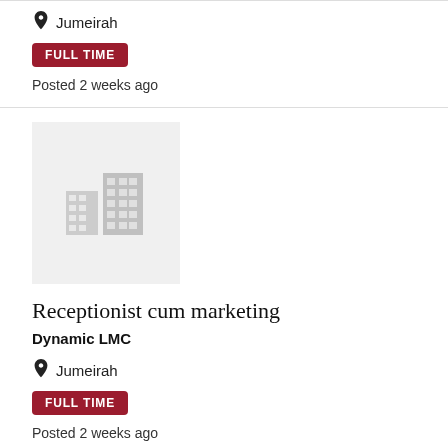Jumeirah
FULL TIME
Posted 2 weeks ago
[Figure (illustration): Company logo placeholder with grey building icons]
Receptionist cum marketing
Dynamic LMC
Jumeirah
FULL TIME
Posted 2 weeks ago
[Figure (illustration): Company logo placeholder with grey building icons (partial, cut off at bottom)]